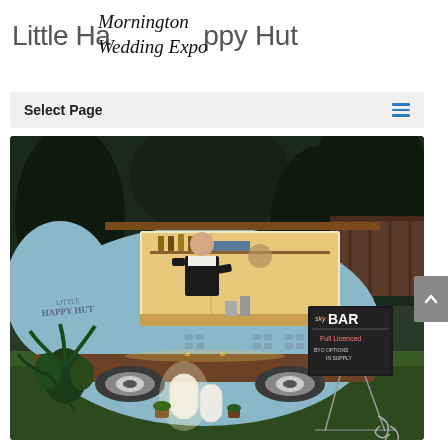Little Happy Hut
Mornington Wedding Expo
Select Page
[Figure (photo): A vintage light-blue teardrop-shaped food/bar trailer called 'Little Happy Hut' with string lights along the open serving hatch. A man in a black apron stands behind the bar. A chalkboard sign reads 'BAR - Full Licenced'. Plants and illuminated decorations are in the foreground on green grass.]